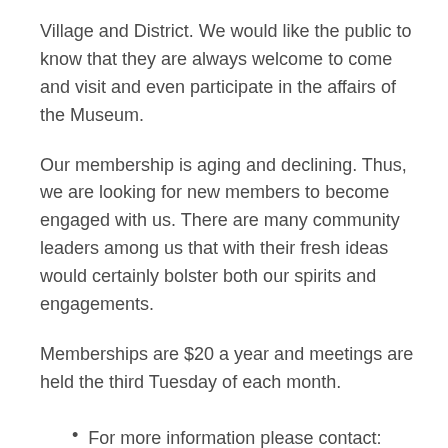Village and District. We would like the public to know that they are always welcome to come and visit and even participate in the affairs of the Museum.
Our membership is aging and declining. Thus, we are looking for new members to become engaged with us. There are many community leaders among us that with their fresh ideas would certainly bolster both our spirits and engagements.
Memberships are $20 a year and meetings are held the third Tuesday of each month.
For more information please contact:
Ray Reckseidler at 403-749-3813